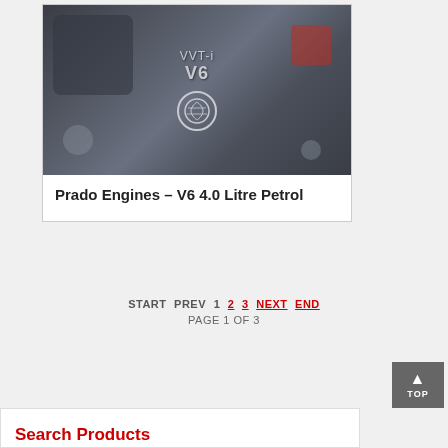[Figure (photo): Toyota Prado V6 engine bay photo showing VVT-i V6 engine cover with Toyota logo]
Prado Engines – V6 4.0 Litre Petrol
START  PREV  1  2  3  NEXT  END
PAGE 1 OF 3
TOP
Search Products